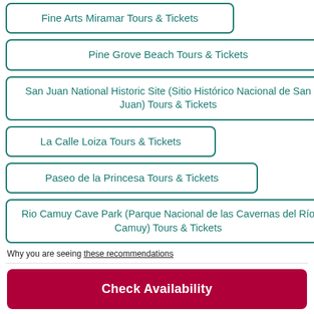Fine Arts Miramar Tours & Tickets
Pine Grove Beach Tours & Tickets
San Juan National Historic Site (Sitio Histórico Nacional de San Juan) Tours & Tickets
La Calle Loiza Tours & Tickets
Paseo de la Princesa Tours & Tickets
Rio Camuy Cave Park (Parque Nacional de las Cavernas del Río Camuy) Tours & Tickets
Why you are seeing these recommendations
Check Availability